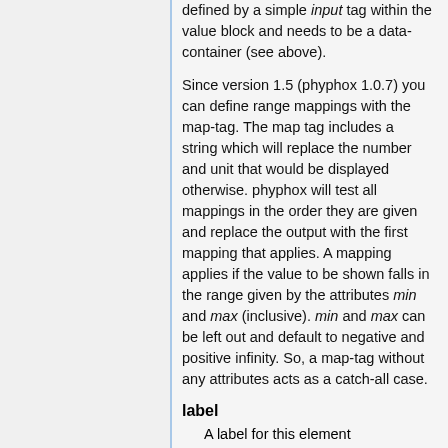defined by a simple input tag within the value block and needs to be a data-container (see above).
Since version 1.5 (phyphox 1.0.7) you can define range mappings with the map-tag. The map tag includes a string which will replace the number and unit that would be displayed otherwise. phyphox will test all mappings in the order they are given and replace the output with the first mapping that applies. A mapping applies if the value to be shown falls in the range given by the attributes min and max (inclusive). min and max can be left out and default to negative and positive infinity. So, a map-tag without any attributes acts as a catch-all case.
label
A label for this element